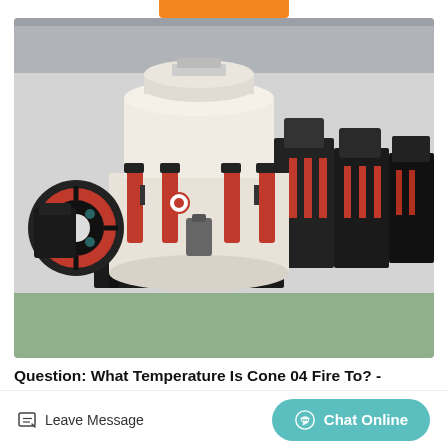[Figure (photo): Industrial cone crusher machine in a factory setting, white and red, with large flywheel, mounted on black steel frame. Multiple similar machines visible in background.]
Question: What Temperature Is Cone 04 Fire To? -
Leave Message
Chat Online